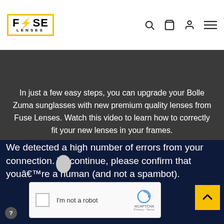[Figure (logo): Fuse Lenses logo with yellow border and lightning bolt]
In just a few easy steps, you can upgrade your Bolle Zuma sunglasses with new premium quality lenses from Fuse Lenses. Watch this video to learn how to correctly fit your new lenses in your frames.
We detected a high number of errors from your connection. To continue, please confirm that youâ€™re a human (and not a spambot).
[Figure (screenshot): reCAPTCHA checkbox widget with 'I'm not a robot' label and reCAPTCHA branding showing Privacy and Terms links]